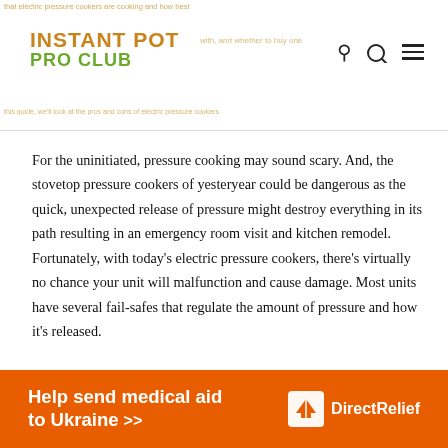INSTANT POT PRO CLUB
For the uninitiated, pressure cooking may sound scary. And, the stovetop pressure cookers of yesteryear could be dangerous as the quick, unexpected release of pressure might destroy everything in its path resulting in an emergency room visit and kitchen remodel. Fortunately, with today's electric pressure cookers, there's virtually no chance your unit will malfunction and cause damage. Most units have several fail-safes that regulate the amount of pressure and how it's released.
[Figure (infographic): Orange advertisement banner reading 'Help send medical aid to Ukraine >>' with DirectRelief logo on the right]